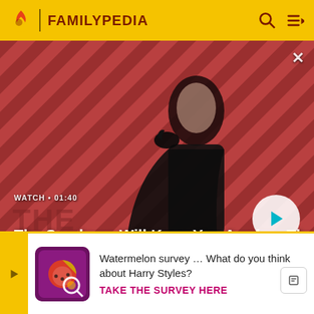FAMILYPEDIA
[Figure (photo): Hero image for video: a dark-clothed figure with a raven on their shoulder against a red and dark diagonal stripe background. Text overlay: WATCH · 01:40, The Sandman Will Keep You Awake - The Loop. Play button on the right.]
the constitution changed to allow multi-candidate presidential elections before September 2005 by
[Figure (screenshot): Survey banner with yellow arrow on left, purple/pink survey graphic image, text: Watermelon survey … What do you think about Harry Styles? TAKE THE SURVEY HERE]